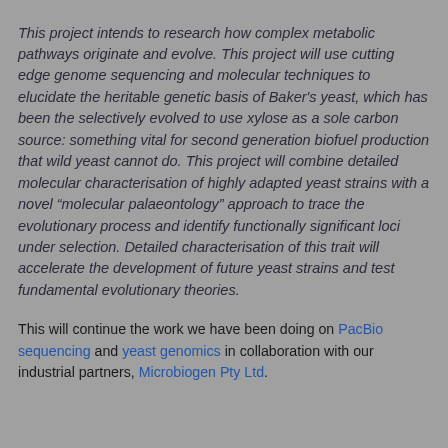This project intends to research how complex metabolic pathways originate and evolve. This project will use cutting edge genome sequencing and molecular techniques to elucidate the heritable genetic basis of Baker's yeast, which has been the selectively evolved to use xylose as a sole carbon source: something vital for second generation biofuel production that wild yeast cannot do. This project will combine detailed molecular characterisation of highly adapted yeast strains with a novel “molecular palaeontology” approach to trace the evolutionary process and identify functionally significant loci under selection. Detailed characterisation of this trait will accelerate the development of future yeast strains and test fundamental evolutionary theories.
This will continue the work we have been doing on PacBio sequencing and yeast genomics in collaboration with our industrial partners, Microbiogen Pty Ltd.